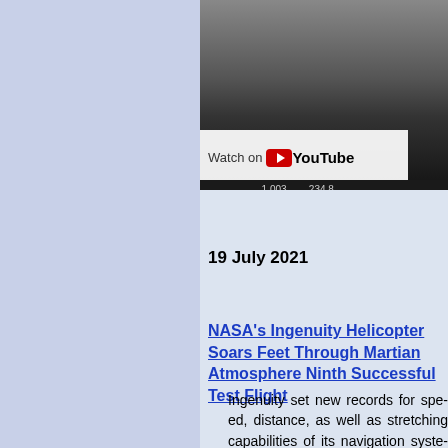[Figure (screenshot): YouTube video screenshot showing a NASA Ingenuity helicopter flight video with Watch on YouTube overlay and counter bar showing 1,003 and 234,8]
19 July 2021
NASA's Ingenuity Helicopter Soars Feet Through Martian Atmosphere Ninth Successful Test Flight
Ingenuity set new records for speed, distance, as well as stretching capabilities of its navigation system
Crossing sandy soil challenges, Ingenuity's navigation algorithm sets the helicopter's flight path for a flat landscape hadn't been tested on complex